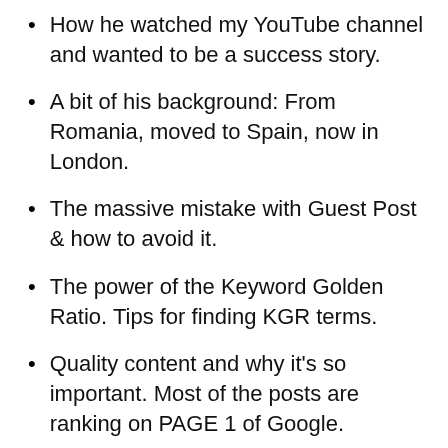How he watched my YouTube channel and wanted to be a success story.
A bit of his background: From Romania, moved to Spain, now in London.
The massive mistake with Guest Post & how to avoid it.
The power of the Keyword Golden Ratio. Tips for finding KGR terms.
Quality content and why it's so important. Most of the posts are ranking on PAGE 1 of Google.
The link building strategy & its role.